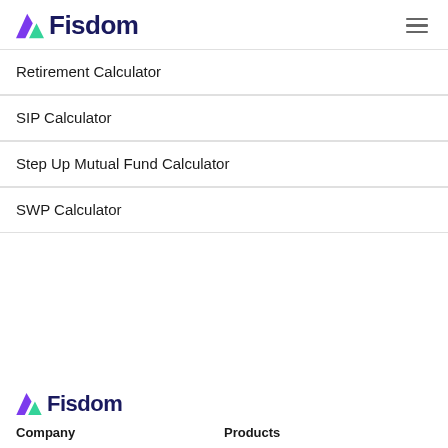Fisdom
Retirement Calculator
SIP Calculator
Step Up Mutual Fund Calculator
SWP Calculator
[Figure (logo): Fisdom logo with purple and green icon and dark blue text]
Company   Products